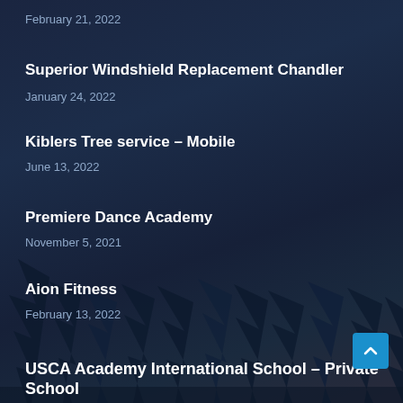February 21, 2022
Superior Windshield Replacement Chandler
January 24, 2022
Kiblers Tree service – Mobile
June 13, 2022
Premiere Dance Academy
November 5, 2021
Aion Fitness
February 13, 2022
USCA Academy International School – Private School